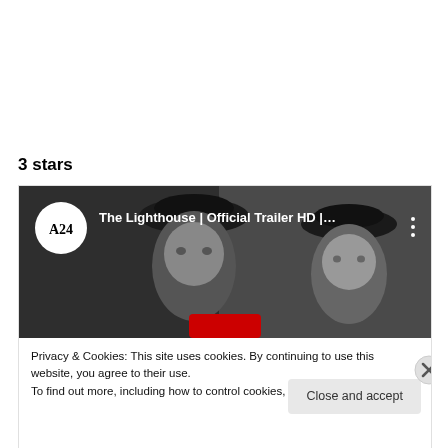3 stars
[Figure (screenshot): YouTube video thumbnail showing 'The Lighthouse | Official Trailer HD |...' with A24 logo. Two men in captain's hats in black and white. A red play button is partially visible at bottom center.]
Privacy & Cookies: This site uses cookies. By continuing to use this website, you agree to their use.
To find out more, including how to control cookies, see here: Cookie Policy
Close and accept